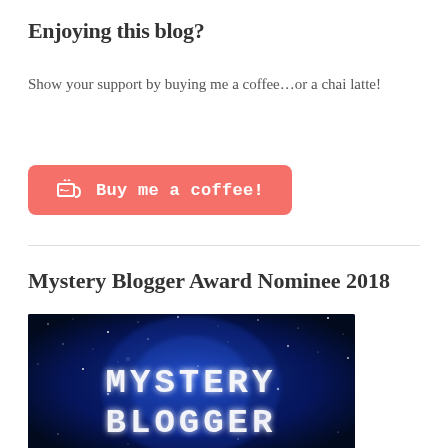Enjoying this blog?
Show your support by buying me a coffee…or a chai latte!
[Figure (other): Red rounded button with coffee cup icon and text 'Buy me a coffee!']
Mystery Blogger Award Nominee 2018
[Figure (photo): Dark blue cosmic/starfield background with text 'MYSTERY BLOGGER' in large white typewriter-style font]